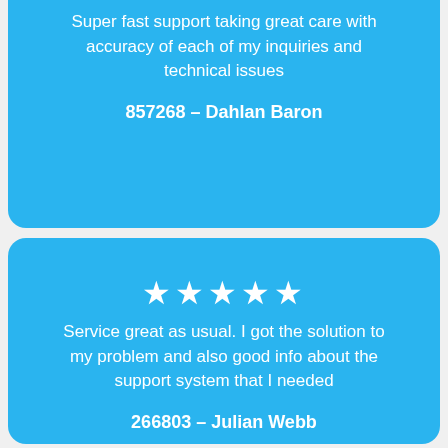Super fast support taking great care with accuracy of each of my inquiries and technical issues
857268 – Dahlan Baron
[Figure (infographic): Five white star rating icons on blue background]
Service great as usual. I got the solution to my problem and also good info about the support system that I needed
266803 – Julian Webb